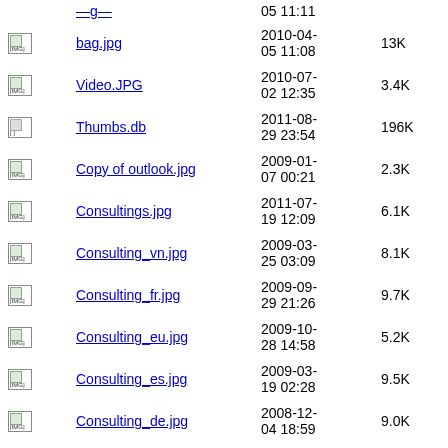[IMG] bag.jpg 2010-04-05 11:08 13K
[IMG] Video.JPG 2010-07-02 12:35 3.4K
[ ] Thumbs.db 2011-08-29 23:54 196K
[IMG] Copy of outlook.jpg 2009-01-07 00:21 2.3K
[IMG] Consultings.jpg 2011-07-19 12:09 6.1K
[IMG] Consulting_vn.jpg 2009-03-25 03:09 8.1K
[IMG] Consulting_fr.jpg 2009-09-29 21:26 9.7K
[IMG] Consulting_eu.jpg 2009-10-28 14:58 5.2K
[IMG] Consulting_es.jpg 2009-03-19 02:28 9.5K
[IMG] Consulting_de.jpg 2008-12-04 18:59 9.0K
[IMG] Consulting_bs.jpg 2009-11-13 10:12 4.7K